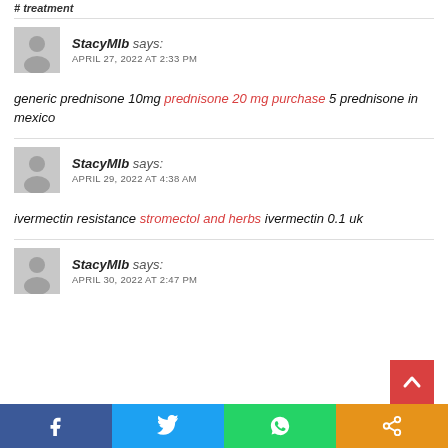# treatment
StacyMIb says: APRIL 27, 2022 AT 2:33 PM
generic prednisone 10mg prednisone 20 mg purchase 5 prednisone in mexico
StacyMIb says: APRIL 29, 2022 AT 4:38 AM
ivermectin resistance stromectol and herbs ivermectin 0.1 uk
StacyMIb says: APRIL 30, 2022 AT 2:47 PM
Facebook Twitter WhatsApp Share